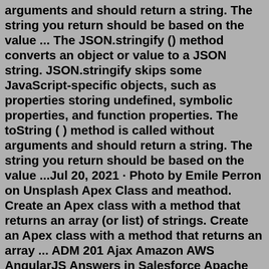arguments and should return a string. The string you return should be based on the value ... The JSON.stringify () method converts an object or value to a JSON string. JSON.stringify skips some JavaScript-specific objects, such as properties storing undefined, symbolic properties, and function properties. The toString ( ) method is called without arguments and should return a string. The string you return should be based on the value ...Jul 20, 2021 · Photo by Emile Perron on Unsplash Apex Class and meathod. Create an Apex class with a method that returns an array (or list) of strings. Create an Apex class with a method that returns an array ... ADM 201 Ajax Amazon AWS AngularJS Answers in Salesforce Apache Ant Tool Apex Unit Tests AppExchange in Salesforce Approval Process in Salesforce aside.io Assignment Rules in Salesforce Automation Testing AutoRABIT for Salesforce Batch Apex in Salesforce BigObjects in Salesforce Bitbucket Bitrix24 Bootstrap Browser Issues C C++ Call Centers in. Every JavaScript object has a toString () method. The